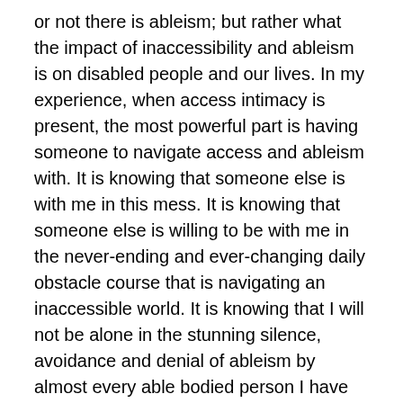or not there is ableism; but rather what the impact of inaccessibility and ableism is on disabled people and our lives. In my experience, when access intimacy is present, the most powerful part is having someone to navigate access and ableism with. It is knowing that someone else is with me in this mess. It is knowing that someone else is willing to be with me in the never-ending and ever-changing daily obstacle course that is navigating an inaccessible world. It is knowing that I will not be alone in the stunning silence, avoidance and denial of ableism by almost every able bodied person I have ever and will ever come in contact with. Access intimacy is knowing that I will not be alone in the stealth, insidious poison that is ableism.
The power of access intimacy is that it reorients our approach from one where disabled people are